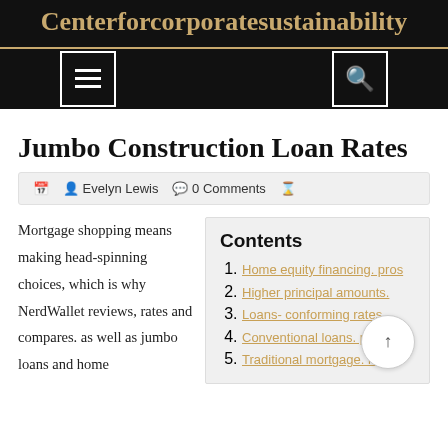Centerforcorporatesustainability
Jumbo Construction Loan Rates
Evelyn Lewis   0 Comments
Mortgage shopping means making head-spinning choices, which is why NerdWallet reviews, rates and compares. as well as jumbo loans and home
| Contents |
| --- |
| Home equity financing. pros |
| Higher principal amounts. |
| Loans- conforming rates |
| Conventional loans. philipin |
| Traditional mortgage. lear |